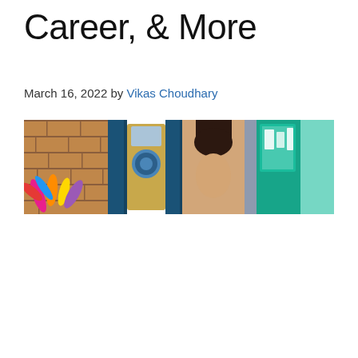Career, & More
March 16, 2022 by Vikas Choudhary
[Figure (photo): A cropped banner photo showing a person partially visible near a blue-framed shop entrance with brick walls on the left, colorful petal/leaf decorations, a wooden sign with a circular logo, and teal/turquoise elements on the right.]